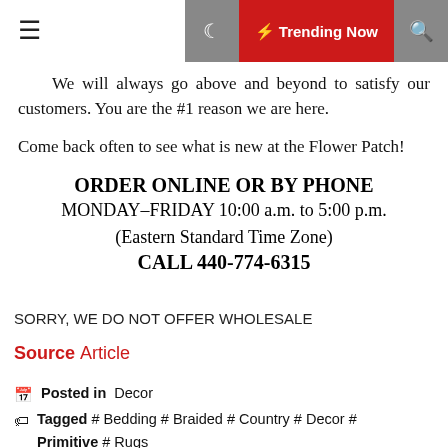≡  🌙  ⚡ Trending Now  🔍
We will always go above and beyond to satisfy our customers. You are the #1 reason we are here.
Come back often to see what is new at the Flower Patch!
ORDER ONLINE OR BY PHONE
MONDAY–FRIDAY 10:00 a.m. to 5:00 p.m.
(Eastern Standard Time Zone)
CALL 440-774-6315
SORRY, WE DO NOT OFFER WHOLESALE
Source Article
Posted in  Decor
Tagged # Bedding # Braided # Country # Decor # Primitive # Rugs